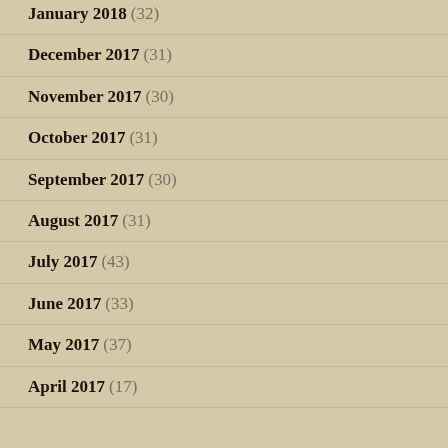January 2018 (32)
December 2017 (31)
November 2017 (30)
October 2017 (31)
September 2017 (30)
August 2017 (31)
July 2017 (43)
June 2017 (33)
May 2017 (37)
April 2017 (17)